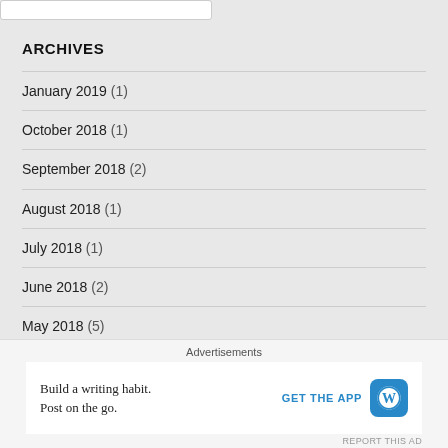ARCHIVES
January 2019 (1)
October 2018 (1)
September 2018 (2)
August 2018 (1)
July 2018 (1)
June 2018 (2)
May 2018 (5)
April 2018 (1)
Advertisements
Build a writing habit. Post on the go. GET THE APP